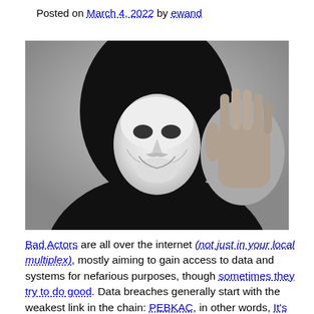Posted on March 4, 2022 by ewand
[Figure (photo): Black and white photo of a person wearing a Guy Fawkes mask and a black hoodie, holding up one hand toward the camera.]
Bad Actors are all over the internet (not just in your local multiplex), mostly aiming to gain access to data and systems for nefarious purposes, though sometimes they try to do good. Data breaches generally start with the weakest link in the chain: PEBKAC, in other words, It's Your Problem.